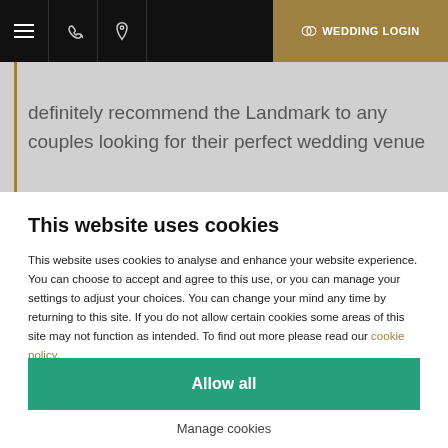WEDDING LOGIN
definitely recommend the Landmark to any couples looking for their perfect wedding venue
This website uses cookies
This website uses cookies to analyse and enhance your website experience. You can choose to accept and agree to this use, or you can manage your settings to adjust your choices. You can change your mind any time by returning to this site. If you do not allow certain cookies some areas of this site may not function as intended. To find out more please read our cookie policy.
Allow all
Manage cookies